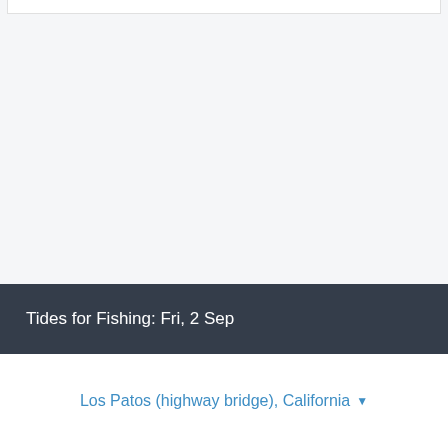Tides for Fishing: Fri, 2 Sep
Los Patos (highway bridge), California ▾